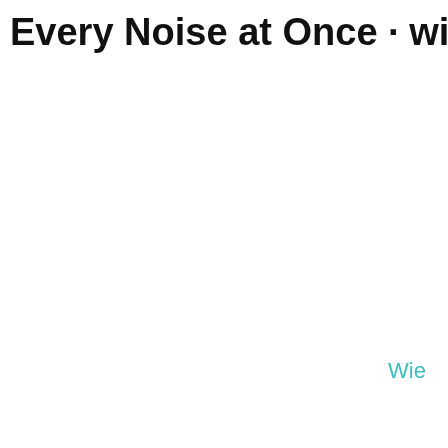Every Noise at Once · wind enser
Wie